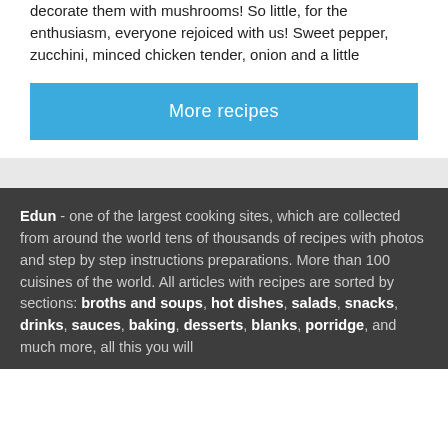decorate them with mushrooms! So little, for the enthusiasm, everyone rejoiced with us! Sweet pepper, zucchini, minced chicken tender, onion and a little
More recipes
Edun - one of the largest cooking sites, which are collected from around the world tens of thousands of recipes with photos and step by step instructions preparations. More than 100 cuisines of the world. All articles with recipes are sorted by sections: broths and soups, hot dishes, salads, snacks, drinks, sauces, baking, desserts, blanks, porridge, and much more, all this you will